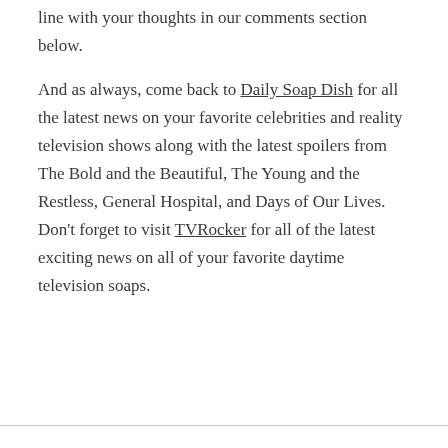line with your thoughts in our comments section below.
And as always, come back to Daily Soap Dish for all the latest news on your favorite celebrities and reality television shows along with the latest spoilers from The Bold and the Beautiful, The Young and the Restless, General Hospital, and Days of Our Lives. Don't forget to visit TVRocker for all of the latest exciting news on all of your favorite daytime television soaps.